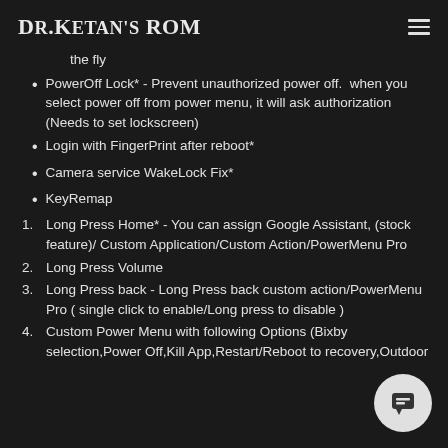Dr.Ketan's ROM
the fly
PowerOff Lock* - Prevent unauthorized power off. when you select power off from power menu, it will ask authorization (Needs to set lockscreen)
Login with FingerPrint after reboot*
Camera service WakeLock Fix*
KeyRemap
1. Long Press Home* - You can assign Google Assistant, (stock feature)/ Custom Application/Custom Action/PowerMenu Pro
2. Long Press Volume
3. Long Press back - Long Press back custom action/PowerMenu Pro ( single click to enable/Long press to disable )
4. Custom Power Menu with following Options (Bixby selection,Power Off,Kill App,Restart/Reboot to recovery,Outdoor